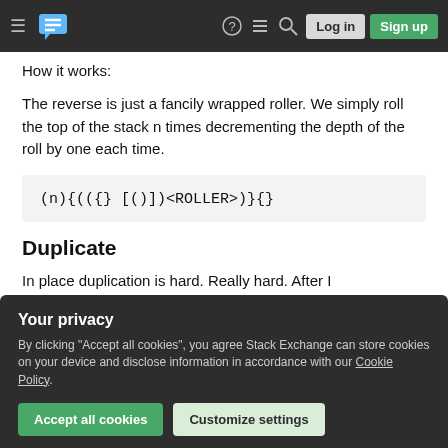Stack Exchange navigation bar with logo, icons, Log in, Sign up
How it works:
The reverse is just a fancily wrapped roller. We simply roll the top of the stack n times decrementing the depth of the roll by one each time.
Duplicate
In place duplication is hard. Really hard. After I
Your privacy
By clicking "Accept all cookies", you agree Stack Exchange can store cookies on your device and disclose information in accordance with our Cookie Policy.
Accept all cookies
Customize settings